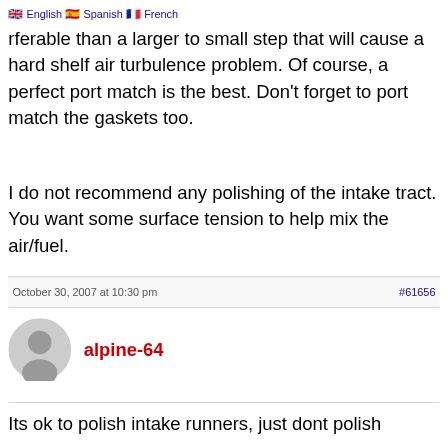English | Spanish | French
p from smaller to larger is preferable than a larger to small step that will cause a hard shelf air turbulence problem. Of course, a perfect port match is the best. Don't forget to port match the gaskets too.
I do not recommend any polishing of the intake tract. You want some surface tension to help mix the air/fuel.
October 30, 2007 at 10:30 pm
#61656
alpine-64
Its ok to polish intake runners, just dont polish